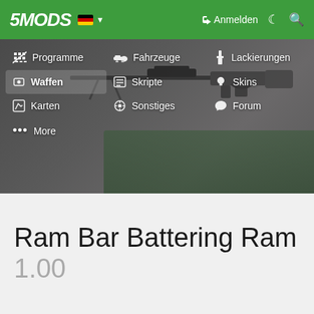5MODS — Anmelden [DE flag]
[Figure (screenshot): Navigation menu overlay on a blurred dark game background showing a sniper rifle. Menu items: Programme, Fahrzeuge, Lackierungen, Waffen (highlighted), Skripte, Skins, Karten, Sonstiges, Forum, More]
Ram Bar Battering Ram 1.00